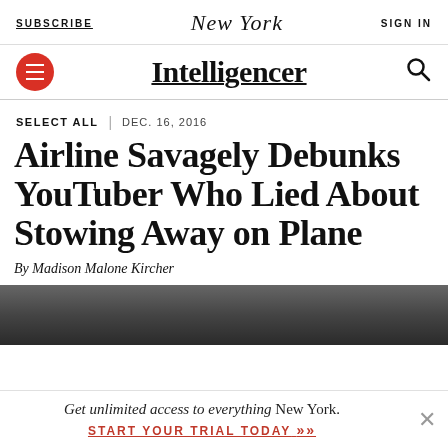SUBSCRIBE   New York   SIGN IN
Intelligencer
SELECT ALL | DEC. 16, 2016
Airline Savagely Debunks YouTuber Who Lied About Stowing Away on Plane
By Madison Malone Kircher
[Figure (photo): Dark photo strip at top of article]
Get unlimited access to everything New York. START YOUR TRIAL TODAY